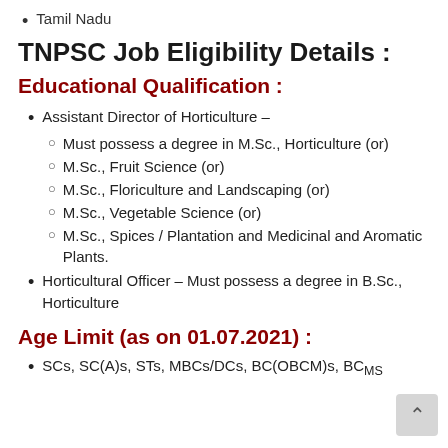Tamil Nadu
TNPSC Job Eligibility Details :
Educational Qualification :
Assistant Director of Horticulture –
Must possess a degree in M.Sc., Horticulture (or)
M.Sc., Fruit Science (or)
M.Sc., Floriculture and Landscaping (or)
M.Sc., Vegetable Science (or)
M.Sc., Spices / Plantation and Medicinal and Aromatic Plants.
Horticultural Officer – Must possess a degree in B.Sc., Horticulture
Age Limit (as on 01.07.2021) :
SCs, SC(A)s, STs, MBCs/DCs, BC(OBCM)s, BCMs